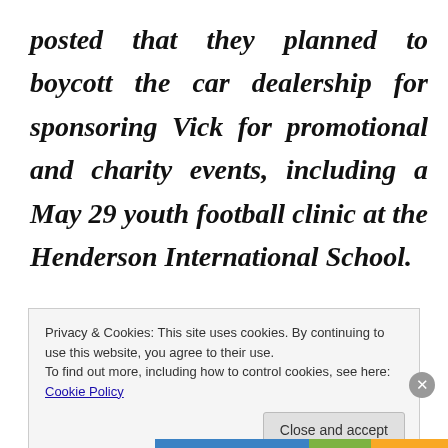posted that they planned to boycott the car dealership for sponsoring Vick for promotional and charity events, including a May 29 youth football clinic at the Henderson International School.
In response, the dealership began
Privacy & Cookies: This site uses cookies. By continuing to use this website, you agree to their use.
To find out more, including how to control cookies, see here: Cookie Policy